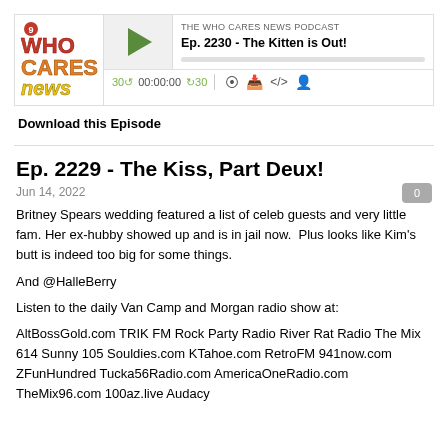[Figure (screenshot): Who Cares News podcast logo with colorful text and audio player interface showing episode Ep. 2230 - The Kitten is Out!]
Download this Episode
Ep. 2229 - The Kiss, Part Deux!
Jun 14, 2022
Britney Spears wedding featured a list of celeb guests and very little fam. Her ex-hubby showed up and is in jail now. Plus looks like Kim's butt is indeed too big for some things.
And @HalleBerry
Listen to the daily Van Camp and Morgan radio show at:
AltBossGold.com TRIK FM Rock Party Radio River Rat Radio The Mix 614 Sunny 105 Souldies.com KTahoe.com RetroFM 941now.com ZFunHundred Tucka56Radio.com AmericaOneRadio.com TheMix96.com 100az.live Audacy